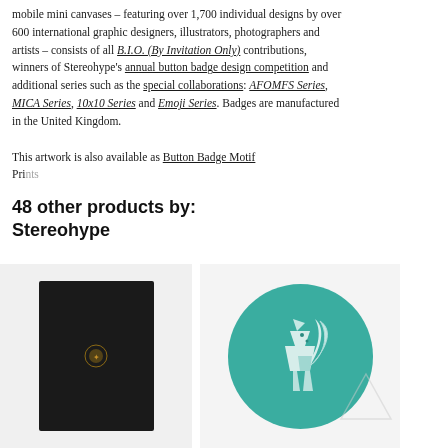mobile mini canvases – featuring over 1,700 individual designs by over 600 international graphic designers, illustrators, photographers and artists – consists of all B.I.O. (By Invitation Only) contributions, winners of Stereohype's annual button badge design competition and additional series such as the special collaborations: AFOMFS Series, MICA Series, 10x10 Series and Emoji Series. Badges are manufactured in the United Kingdom.

This artwork is also available as Button Badge Motif Prints
48 other products by: Stereohype
[Figure (photo): Black notebook/book cover with a small embossed gold logo centered on the front]
[Figure (photo): Teal/turquoise round button badge featuring a geometric white squirrel illustration]